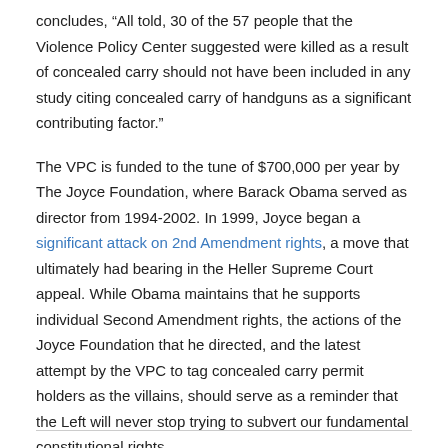concludes, “All told, 30 of the 57 people that the Violence Policy Center suggested were killed as a result of concealed carry should not have been included in any study citing concealed carry of handguns as a significant contributing factor.”
The VPC is funded to the tune of $700,000 per year by The Joyce Foundation, where Barack Obama served as director from 1994-2002. In 1999, Joyce began a significant attack on 2nd Amendment rights, a move that ultimately had bearing in the Heller Supreme Court appeal. While Obama maintains that he supports individual Second Amendment rights, the actions of the Joyce Foundation that he directed, and the latest attempt by the VPC to tag concealed carry permit holders as the villains, should serve as a reminder that the Left will never stop trying to subvert our fundamental constitutional rights.
SOURCE